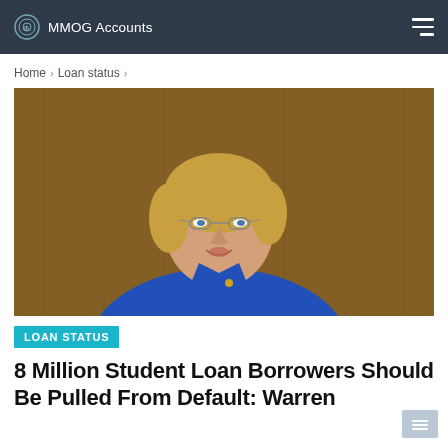MMOG Accounts
Home > Loan status >
[Figure (photo): Woman with short blonde hair wearing glasses and a blue blazer, speaking or testifying, with a wood-paneled background. Identified as Senator Elizabeth Warren.]
LOAN STATUS
8 Million Student Loan Borrowers Should Be Pulled From Default: Warren